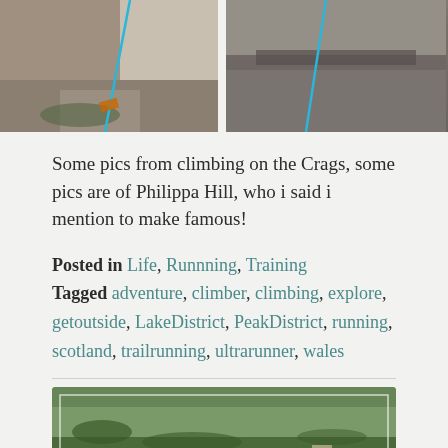[Figure (photo): Two side-by-side photos of rock climbing on crags, showing rock faces with blue ropes visible]
Some pics from climbing on the Crags, some pics are of Philippa Hill, who i said i mention to make famous!
Posted in Life, Runnning, Training
Tagged adventure, climber, climbing, explore, getoutside, LakeDistrict, PeakDistrict, running, scotland, trailrunning, ultrarunner, wales
[Figure (photo): Aerial landscape photo showing green fields and countryside, possibly a valley or rural area]